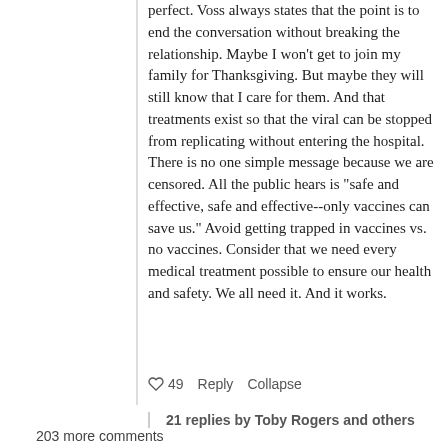perfect. Voss always states that the point is to end the conversation without breaking the relationship. Maybe I won't get to join my family for Thanksgiving. But maybe they will still know that I care for them. And that treatments exist so that the viral can be stopped from replicating without entering the hospital. There is no one simple message because we are censored. All the public hears is "safe and effective, safe and effective--only vaccines can save us." Avoid getting trapped in vaccines vs. no vaccines. Consider that we need every medical treatment possible to ensure our health and safety. We all need it. And it works.
♡ 49   Reply   Collapse
21 replies by Toby Rogers and others
203 more comments